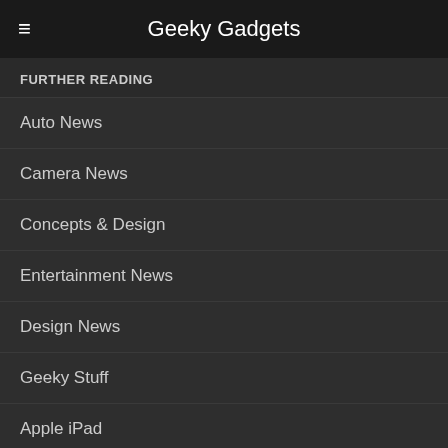Geeky Gadgets
FURTHER READING
Auto News
Camera News
Concepts & Design
Entertainment News
Design News
Geeky Stuff
Apple iPad
Apple iPhone
Mobile Phone News